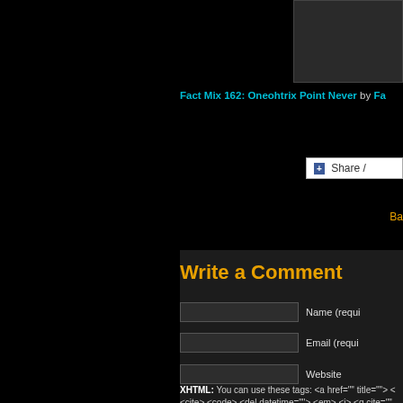[Figure (screenshot): Thumbnail image placeholder in dark gray]
Fact Mix 162: Oneohtrix Point Never by Fa...
Share /
Ba...
Write a Comment
Name (requi...
Email (requi...
Website
XHTML: You can use these tags: <a href="" title=""> <cite> <code> <del datetime=""> <em> <i> <q cite=""...